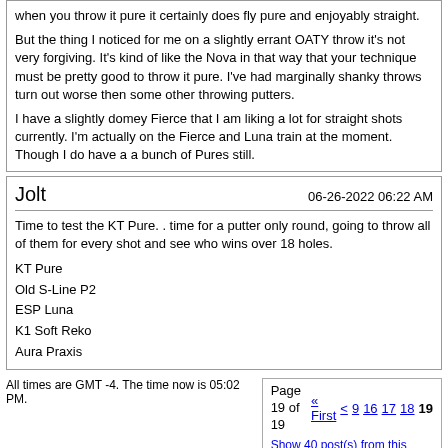when you throw it pure it certainly does fly pure and enjoyably straight.
But the thing I noticed for me on a slightly errant OATY throw it's not very forgiving. It's kind of like the Nova in that way that your technique must be pretty good to throw it pure. I've had marginally shanky throws turn out worse then some other throwing putters.
I have a slightly domey Fierce that I am liking a lot for straight shots currently. I'm actually on the Fierce and Luna train at the moment. Though I do have a a bunch of Pures still.
Jolt
06-26-2022 06:22 AM
Time to test the KT Pure. . time for a putter only round, going to throw all of them for every shot and see who wins over 18 holes.
KT Pure
Old S-Line P2
ESP Luna
K1 Soft Reko
Aura Praxis
All times are GMT -4. The time now is 05:02 PM.
Page 19 of 19  « First  <  9  16  17  18  19
Show 40 post(s) from this thread on one page
Powered by vBulletin® Version 3.8.10